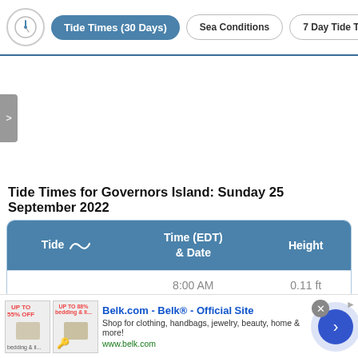Tide Times (30 Days) | Sea Conditions | 7 Day Tide Tab
[Figure (other): Empty chart/map area with a left-side arrow navigation button ('>'), appearing as a white rectangular region below the navigation bar.]
Tide Times for Governors Island: Sunday 25 September 2022
| Tide ∿ | Time (EDT) & Date | Height |
| --- | --- | --- |
|  | 8:00 AM | 0.11 ft |
[Figure (other): Advertisement banner for Belk.com - Belk® Official Site. Shop for clothing, handbags, jewelry, beauty, home & more! www.belk.com. Contains two small product images on the left, ad text in the middle, a close (X) button, and a forward arrow button on the right.]